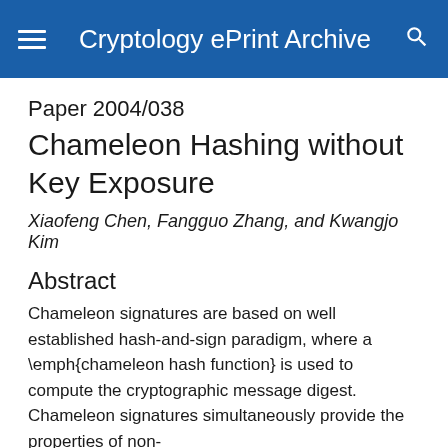Cryptology ePrint Archive
Paper 2004/038
Chameleon Hashing without Key Exposure
Xiaofeng Chen, Fangguo Zhang, and Kwangjo Kim
Abstract
Chameleon signatures are based on well established hash-and-sign paradigm, where a \emph{chameleon hash function} is used to compute the cryptographic message digest. Chameleon signatures simultaneously provide the properties of non-